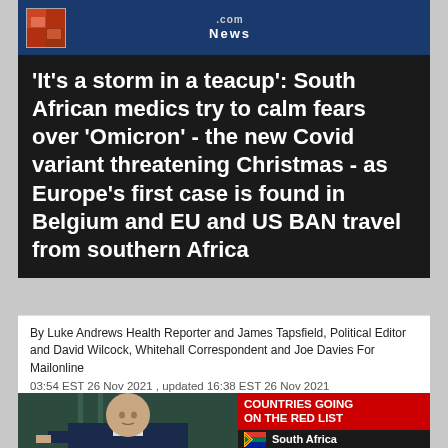.com  News
'It's a storm in a teacup': South African medics try to calm fears over 'Omicron' - the new Covid variant threatening Christmas - as Europe's first case is found in Belgium and EU and US BAN travel from southern Africa
By Luke Andrews Health Reporter and James Tapsfield, Political Editor and David Wilcock, Whitehall Correspondent and Joe Davies For Mailonline
03:54 EST 26 Nov 2021 , updated 16:38 EST 26 Nov 2021
[Figure (photo): Photo of a bald man in a suit, with a sidebar panel showing 'COUNTRIES GOING ON THE RED LIST' with South Africa and Namibia listed]
COUNTRIES GOING ON THE RED LIST
South Africa
Namibia